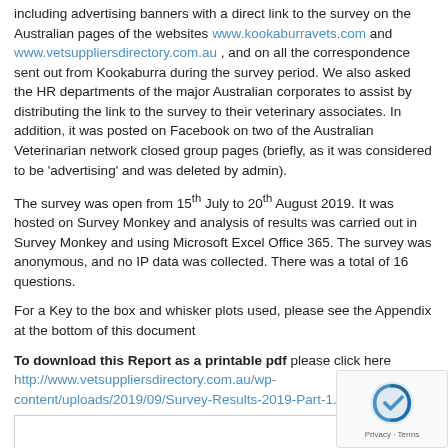including advertising banners with a direct link to the survey on the Australian pages of the websites www.kookaburravets.com and www.vetsuppliersdirectory.com.au , and on all the correspondence sent out from Kookaburra during the survey period. We also asked the HR departments of the major Australian corporates to assist by distributing the link to the survey to their veterinary associates. In addition, it was posted on Facebook on two of the Australian Veterinarian network closed group pages (briefly, as it was considered to be ‘advertising’ and was deleted by admin).
The survey was open from 15th July to 20th August 2019. It was hosted on Survey Monkey and analysis of results was carried out in Survey Monkey and using Microsoft Excel Office 365. The survey was anonymous, and no IP data was collected. There was a total of 16 questions.
For a Key to the box and whisker plots used, please see the Appendix at the bottom of this document
To download this Report as a printable pdf please click here http://www.vetsuppliersdirectory.com.au/wp-content/uploads/2019/09/Survey-Results-2019-Part-1.pdf